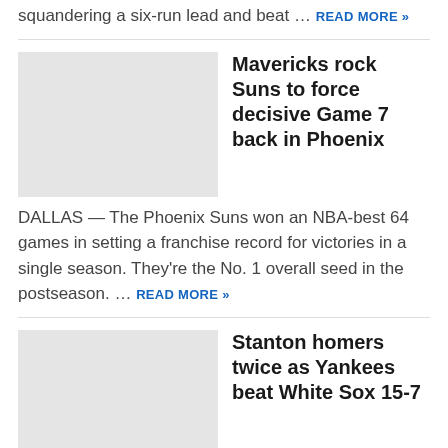squandering a six-run lead and beat … READ MORE »
Mavericks rock Suns to force decisive Game 7 back in Phoenix
[Figure (photo): Placeholder thumbnail image for Mavericks/Suns article]
DALLAS — The Phoenix Suns won an NBA-best 64 games in setting a franchise record for victories in a single season. They're the No. 1 overall seed in the postseason. … READ MORE »
Stanton homers twice as Yankees beat White Sox 15-7
[Figure (photo): Placeholder thumbnail image for Yankees/White Sox article]
CHICAGO (AP) — Giancarlo Stanton homered twice and drove in six runs, and the New York Yankees used a seven-run eighth inning to beat the